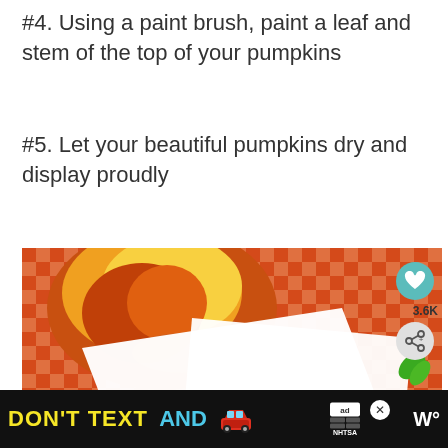#4. Using a paint brush, paint a leaf and stem of the top of your pumpkins
#5. Let your beautiful pumpkins dry and display proudly
[Figure (photo): Close-up photo of a painted pumpkin rock and apple on a red checkered tablecloth, with white cards/paper, a painted pumpkin artwork visible at bottom-left, a green leaf element at right, heart button overlay (3.6K), share button, and a 'What's Next - Line Study Pumpkin Art...' overlay at bottom right.]
[Figure (infographic): Ad banner at bottom: DON'T TEXT AND [car emoji] with NHTSA branding on black background]